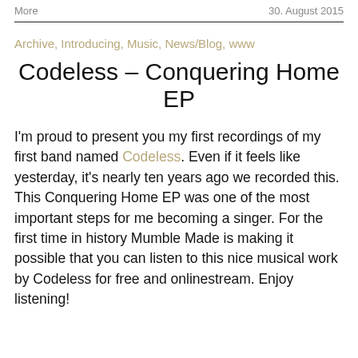More    30. August 2015
Archive, Introducing, Music, News/Blog, www
Codeless – Conquering Home EP
I'm proud to present you my first recordings of my first band named Codeless. Even if it feels like yesterday, it's nearly ten years ago we recorded this. This Conquering Home EP was one of the most important steps for me becoming a singer. For the first time in history Mumble Made is making it possible that you can listen to this nice musical work by Codeless for free and onlinestream. Enjoy listening!